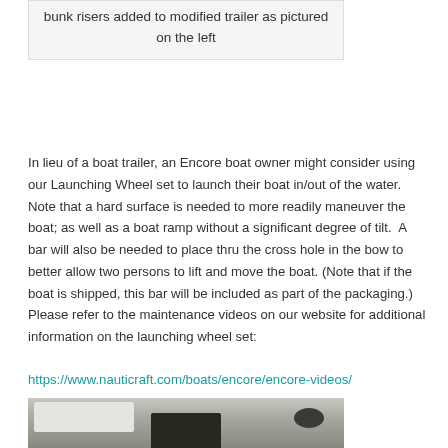| bunk risers added to modified trailer as pictured on the left |
In lieu of a boat trailer, an Encore boat owner might consider using our Launching Wheel set to launch their boat in/out of the water. Note that a hard surface is needed to more readily maneuver the boat; as well as a boat ramp without a significant degree of tilt.  A bar will also be needed to place thru the cross hole in the bow to better allow two persons to lift and move the boat. (Note that if the boat is shipped, this bar will be included as part of the packaging.) Please refer to the maintenance videos on our website for additional information on the launching wheel set:
https://www.nauticraft.com/boats/encore/encore-videos/
[Figure (photo): Photo of boat launching wheel hardware components, showing dark mechanical parts against a light background]